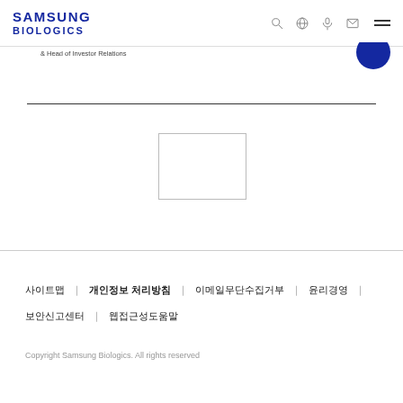SAMSUNG BIOLOGICS
& Head of Investor Relations
[Figure (illustration): Partial dark blue circular image in top right corner]
[Figure (other): Empty rectangular placeholder box in center of page]
사이트맵 | 개인정보 처리방침 | 이메일무단수집거부 | 윤리경영 | 보안신고센터 | 웹접근성도움말
Copyright Samsung Biologics. All rights reserved